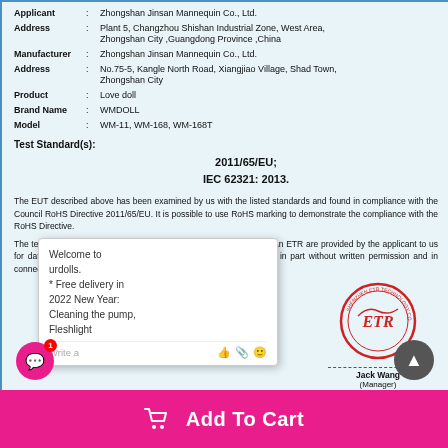| Field | : | Value |
| --- | --- | --- |
| Applicant | : | Zhongshan Jinsan Mannequin Co., Ltd. |
| Address | : | Plant 5, Changzhou Shishan Industrial Zone, West Area, Zhongshan City ,Guangdong Province ,China |
| Manufacturer | : | Zhongshan Jinsan Mannequin Co., Ltd. |
| Address | : | No.75-5, Kangle North Road, Xiangjiao Village, Shad Town, Zhongshan City |
| Product | : | Love doll |
| Brand Name | : | WMDOLL |
| Model | : | WM-11, WM-168, WM-168T |
Test Standard(s):
2011/65/EU;
IEC 62321: 2013.
The EUT described above has been examined by us with the listed standards and found in compliance with the Council RoHS Directive 2011/65/EU. It is possible to use RoHS marking to demonstrate the compliance with the RoHS Directive.
The test data obtained and the report issued by laboratories other than ETR are provided by the applicant to us for data consolidation purpose. The report shall not be reproduced in part without written permission and in connection with the test report number: ET-RoHS16075023.
[Figure (illustration): Red circular ETR stamp with signature of Jack Wang, Manager, dated Jul. 26, 2016]
Jack Wang
(Manager)
Jul. 26, 2016
Welcome to urdolls.
* Free delivery in 2022 New Year: Cleaning the pump, Fleshlight
Add To Cart